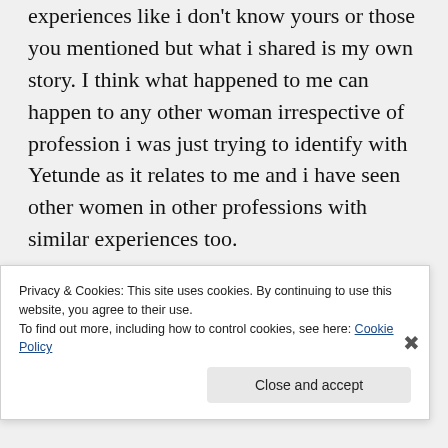experiences like i don't know yours or those you mentioned but what i shared is my own story. I think what happened to me can happen to any other woman irrespective of profession i was just trying to identify with Yetunde as it relates to me and i have seen other women in other professions with similar experiences too.
Privacy & Cookies: This site uses cookies. By continuing to use this website, you agree to their use. To find out more, including how to control cookies, see here: Cookie Policy